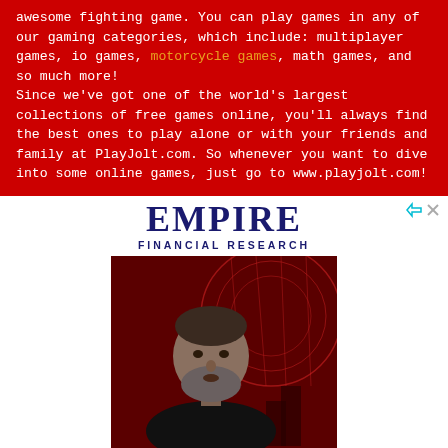awesome fighting game. You can play games in any of our gaming categories, which include: multiplayer games, io games, motorcycle games, math games, and so much more! Since we've got one of the world's largest collections of free games online, you'll always find the best ones to play alone or with your friends and family at PlayJolt.com. So whenever you want to dive into some online games, just go to www.playjolt.com!
[Figure (other): Empire Financial Research advertisement with logo and photo of a bearded man against a red globe background]
New Vehicle Shou...